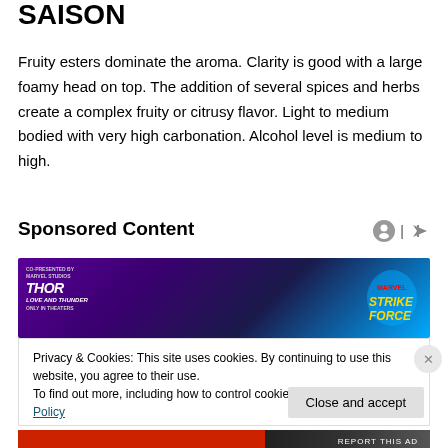SAISON
Fruity esters dominate the aroma. Clarity is good with a large foamy head on top. The addition of several spices and herbs create a complex fruity or citrusy flavor. Light to medium bodied with very high carbonation. Alcohol level is medium to high.
Sponsored Content
[Figure (photo): Advertisement banner for Marvel Strike Force game, co-presented by Thor: Love and Thunder movie, showing a character in dark armor and the game's lightning logo on a purple background.]
Privacy & Cookies: This site uses cookies. By continuing to use this website, you agree to their use.
To find out more, including how to control cookies, see here: Cookie Policy
Close and accept